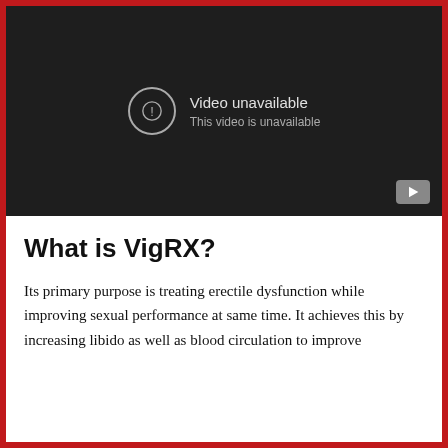[Figure (screenshot): YouTube video player showing 'Video unavailable / This video is unavailable' error message on a dark background with a YouTube play button icon in the bottom right corner.]
What is VigRX?
Its primary purpose is treating erectile dysfunction while improving sexual performance at same time. It achieves this by increasing libido as well as blood circulation to improve